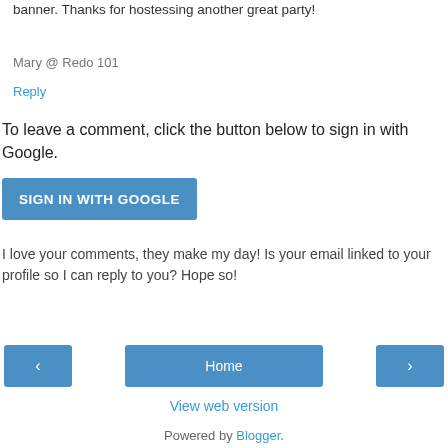banner. Thanks for hostessing another great party!
Mary @ Redo 101
Reply
To leave a comment, click the button below to sign in with Google.
[Figure (other): Blue 'SIGN IN WITH GOOGLE' button]
I love your comments, they make my day! Is your email linked to your profile so I can reply to you? Hope so!
[Figure (other): Navigation row with left arrow button, Home button, and right arrow button]
View web version
Powered by Blogger.